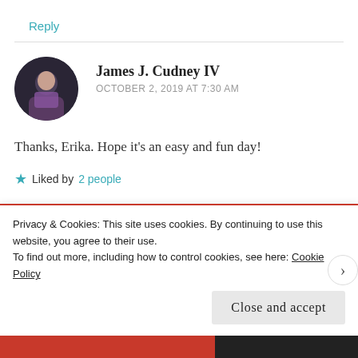Reply
James J. Cudney IV
OCTOBER 2, 2019 AT 7:30 AM
Thanks, Erika. Hope it's an easy and fun day!
Liked by 2 people
Leave a Reply
Privacy & Cookies: This site uses cookies. By continuing to use this website, you agree to their use.
To find out more, including how to control cookies, see here: Cookie Policy
Close and accept